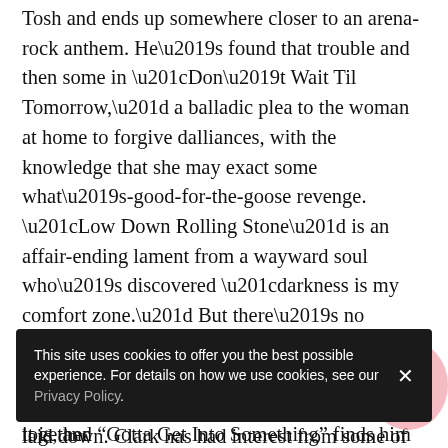Tosh and ends up somewhere closer to an arena-rock anthem. He’s found that trouble and then some in “Don’t Wait Til Tomorrow,” a balladic plea to the woman at home to forgive dalliances, with the knowledge that she may exact some what’s-good-for-the-goose revenge. “Low Down Rolling Stone” is an affair-ending lament from a wayward soul who’s discovered “darkness is my comfort zone.” But there’s no sorrow — yet – in a pair of kick-ass “got to” songs. “Got to Get Up” brings on the trumpet as Clark repeats “Kill ‘em all!” like the rock mantra it is, and “Gotta Get Into Something” finds him reaching to pure Chuck Berry territory… or maybe not so pure, since there’s something positively Ramones-y in his take on furious proto-punk rock and roll.
It may sound diffuse as an album, but it all holds together
laid down. Clark has had interest from some of the top
This site uses cookies to offer you the best possible experience. For details on how we use cookies, see our Privacy Policy.